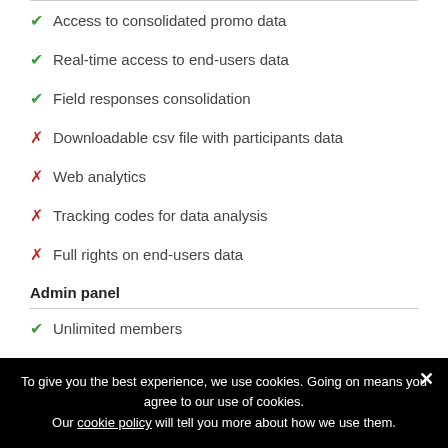✔ Access to consolidated promo data
✔ Real-time access to end-users data
✔ Field responses consolidation
✗ Downloadable csv file with participants data
✗ Web analytics
✗ Tracking codes for data analysis
✗ Full rights on end-users data
Admin panel
✔ Unlimited members
✔ Promotion control through our solid status system
To give you the best experience, we use cookies. Going on means you agree to our use of cookies. Our cookie policy will tell you more about how we use them.